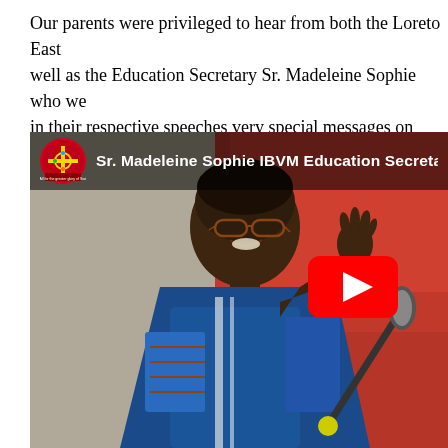Our parents were privileged to hear from both the Loreto East well as the Education Secretary Sr. Madeleine Sophie who we in their respective speeches very special messages on topica
[Figure (screenshot): YouTube video thumbnail showing Sr. Madeleine Sophie IBVM Education Secretary speaking at a podium with a microphone, wearing a blue patterned garment, with a red curtain background. A YouTube play button is visible. The video overlay shows a school/organization logo and the channel name 'Sr. Madeleine Sophie IBVM Education Secretary'.]